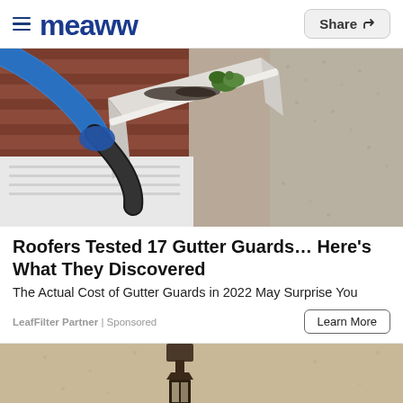Meaww | Share
[Figure (photo): Close-up photo of a blue vacuum hose being used to clean debris and leaves from a white rain gutter along a brick house wall]
Roofers Tested 17 Gutter Guards… Here's What They Discovered
The Actual Cost of Gutter Guards in 2022 May Surprise You
LeafFilter Partner | Sponsored
Learn More
[Figure (photo): Partial view of an outdoor wall-mounted lantern light fixture on a textured stucco wall]